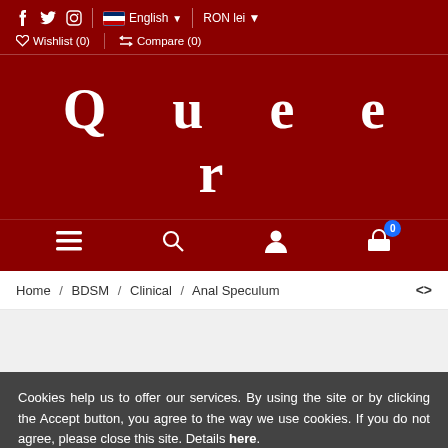f  Twitter  Instagram  | English  |  RON lei | Wishlist (0) | Compare (0)
Q u e e r
Menu | Search | Account | Cart (0)
Home / BDSM / Clinical / Anal Speculum
Cookies help us to offer our services. By using the site or by clicking the Accept button, you agree to the way we use cookies. If you do not agree, please close this site. Details here.
Accept